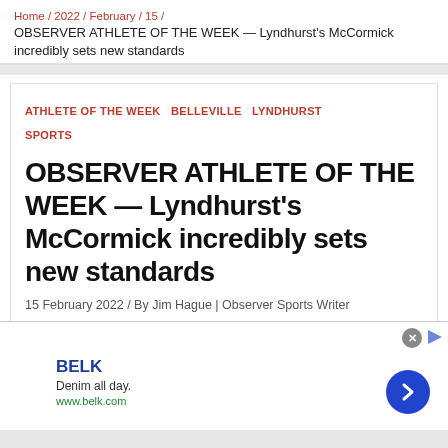Home / 2022 / February / 15 /
OBSERVER ATHLETE OF THE WEEK — Lyndhurst's McCormick incredibly sets new standards
ATHLETE OF THE WEEK  BELLEVILLE  LYNDHURST  SPORTS
OBSERVER ATHLETE OF THE WEEK — Lyndhurst's McCormick incredibly sets new standards
15 February 2022 / By Jim Hague | Observer Sports Writer
[Figure (photo): Partial view of a sports photo, gray/blue tones, partially visible]
BELK
Denim all day.
www.belk.com